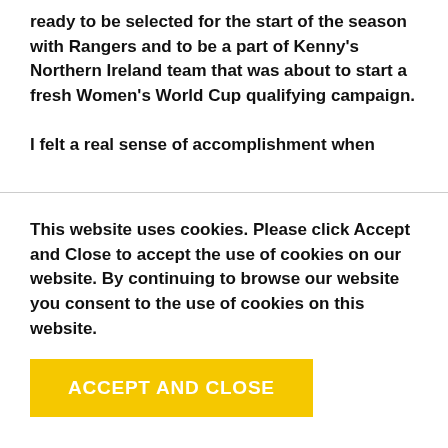ready to be selected for the start of the season with Rangers and to be a part of Kenny's Northern Ireland team that was about to start a fresh Women's World Cup qualifying campaign.

I felt a real sense of accomplishment when
This website uses cookies. Please click Accept and Close to accept the use of cookies on our website. By continuing to browse our website you consent to the use of cookies on this website.
ACCEPT AND CLOSE